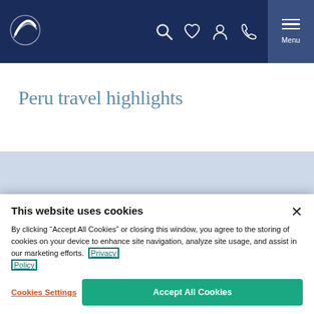Navigation bar with logo and menu icons
Peru travel highlights
[Figure (other): Image carousel placeholder with left and right navigation arrows on a light blue-grey background]
This website uses cookies
By clicking “Accept All Cookies” or closing this window, you agree to the storing of cookies on your device to enhance site navigation, analyze site usage, and assist in our marketing efforts. Privacy Policy
Cookies Settings
Accept All Cookies